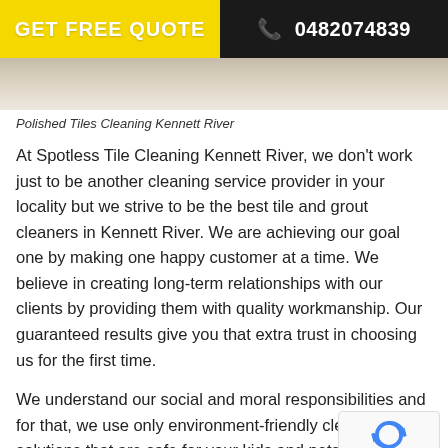GET FREE QUOTE  0482074839
[Figure (photo): Partial view of polished tiles, cropped banner image]
Polished Tiles Cleaning Kennett River
At Spotless Tile Cleaning Kennett River, we don't work just to be another cleaning service provider in your locality but we strive to be the best tile and grout cleaners in Kennett River. We are achieving our goal one by making one happy customer at a time. We believe in creating long-term relationships with our clients by providing them with quality workmanship. Our guaranteed results give you that extra trust in choosing us for the first time.
We understand our social and moral responsibilities and for that, we use only environment-friendly cleaning solutions that are safe for your kids and pets too. All cleaning products are non-toxic. So with Spotless Ti...